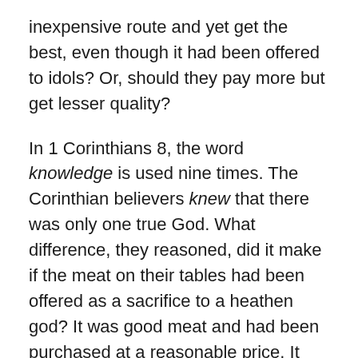inexpensive route and yet get the best, even though it had been offered to idols? Or, should they pay more but get lesser quality?
In 1 Corinthians 8, the word knowledge is used nine times. The Corinthian believers knew that there was only one true God. What difference, they reasoned, did it make if the meat on their tables had been offered as a sacrifice to a heathen god? It was good meat and had been purchased at a reasonable price. It didn't matter to God what kind of meat they ate (v. 8). Or did it?
Paul discussed the eating of meat throughout